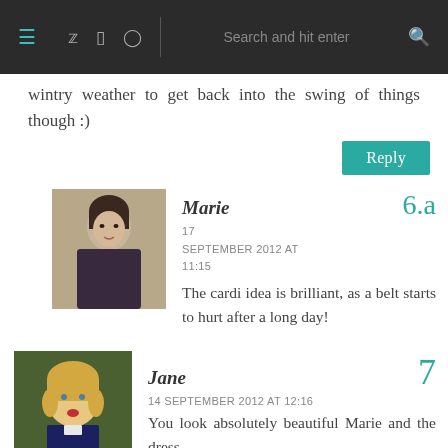Navigation bar with menu, social icons, search
wintry weather to get back into the swing of things though :)
Reply
Marie 6.a
17 SEPTEMBER 2012 AT 11:15
The cardi idea is brilliant, as a belt starts to hurt after a long day!
Jane 7
14 SEPTEMBER 2012 AT 12:16
You look absolutely beautiful Marie and the dress